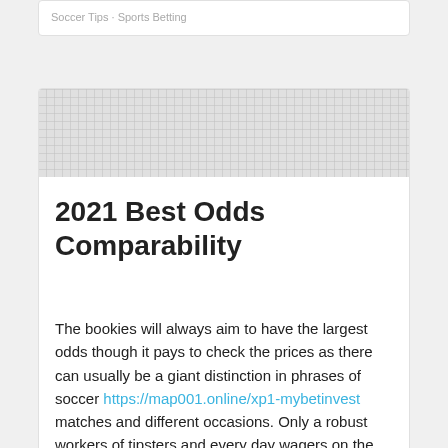Soccer Tips · Sports Betting
[Figure (other): Decorative banner/header image area with a dotted/grid pattern in light gray]
2021 Best Odds Comparability
The bookies will always aim to have the largest odds though it pays to check the prices as there can usually be a giant distinction in phrases of soccer https://map001.online/xp1-mybetinvest matches and different occasions. Only a robust workers of tipsters and every day wagers on the correct fixed matches can guarantee long-term earnings. Team have a mutual curiosity and that is winning. Single-tip staff will get one of the best